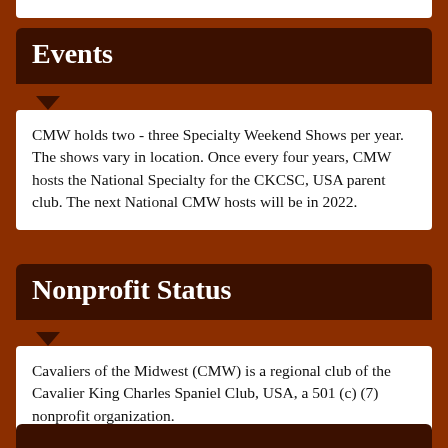Events
CMW holds two - three Specialty Weekend Shows per year. The shows vary in location. Once every four years, CMW hosts the National Specialty for the CKCSC, USA parent club. The next National CMW hosts will be in 2022.
Nonprofit Status
Cavaliers of the Midwest (CMW) is a regional club of the Cavalier King Charles Spaniel Club, USA, a 501 (c) (7) nonprofit organization.